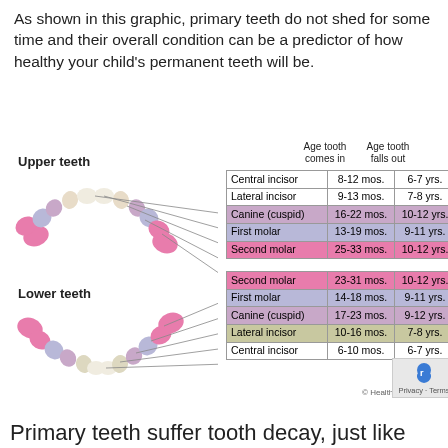As shown in this graphic, primary teeth do not shed for some time and their overall condition can be a predictor of how healthy your child's permanent teeth will be.
[Figure (other): Diagram of upper and lower primary (baby) teeth arranged in a dental arch with lines pointing to a table showing tooth names, age tooth comes in, and age tooth falls out.]
|  | Age tooth comes in | Age tooth falls out |
| --- | --- | --- |
| Central incisor | 8-12 mos. | 6-7 yrs. |
| Lateral incisor | 9-13 mos. | 7-8 yrs. |
| Canine (cuspid) | 16-22 mos. | 10-12 yrs. |
| First molar | 13-19 mos. | 9-11 yrs. |
| Second molar | 25-33 mos. | 10-12 yrs. |
| Second molar | 23-31 mos. | 10-12 yrs. |
| First molar | 14-18 mos. | 9-11 yrs. |
| Canine (cuspid) | 17-23 mos. | 9-12 yrs. |
| Lateral incisor | 10-16 mos. | 7-8 yrs. |
| Central incisor | 6-10 mos. | 6-7 yrs. |
Primary teeth suffer tooth decay, just like